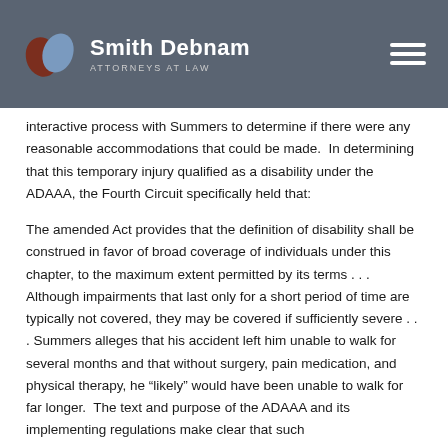[Figure (logo): Smith Debnam Attorneys at Law logo with hamburger menu on dark gray header bar]
interactive process with Summers to determine if there were any reasonable accommodations that could be made. In determining that this temporary injury qualified as a disability under the ADAAA, the Fourth Circuit specifically held that:
The amended Act provides that the definition of disability shall be construed in favor of broad coverage of individuals under this chapter, to the maximum extent permitted by its terms . . . Although impairments that last only for a short period of time are typically not covered, they may be covered if sufficiently severe . . . Summers alleges that his accident left him unable to walk for several months and that without surgery, pain medication, and physical therapy, he “likely” would have been unable to walk for far longer. The text and purpose of the ADAAA and its implementing regulations make clear that such